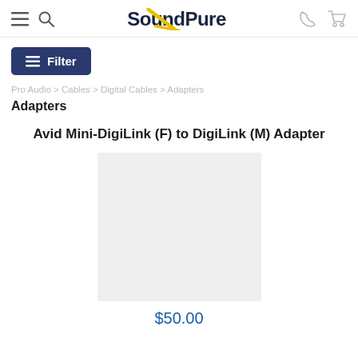SoundPure
Pro Audio > Cables > Digital Cables > Adapters
Adapters
Avid Mini-DigiLink (F) to DigiLink (M) Adapter
[Figure (photo): Product image placeholder (light gray rectangle) for Avid Mini-DigiLink adapter]
$50.00